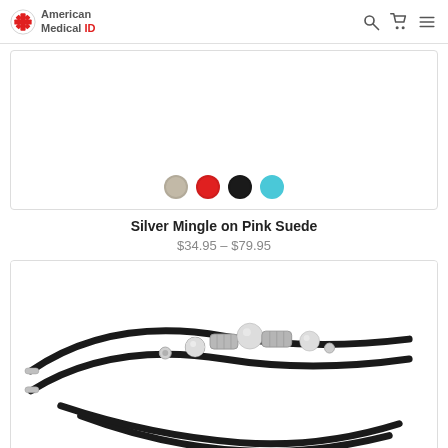American Medical ID
[Figure (photo): Partial view of Silver Mingle on Pink Suede bracelet product listing with four color selector dots: tan, red, black (selected area), and cyan/teal]
Silver Mingle on Pink Suede
$34.95 – $79.95
[Figure (photo): Close-up photo of a black leather cord bracelet with silver beads and decorative silver barrel-shaped charms arranged along the top]